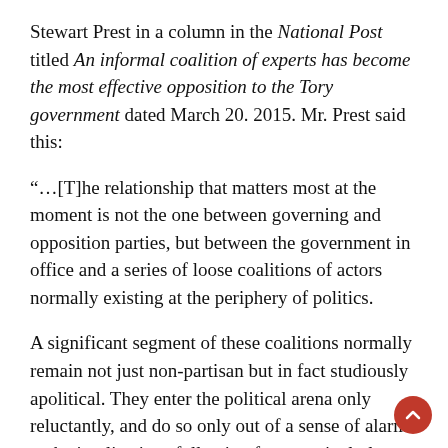Stewart Prest in a column in the National Post titled An informal coalition of experts has become the most effective opposition to the Tory government dated March 20. 2015. Mr. Prest said this:
“…[T]he relationship that matters most at the moment is not the one between governing and opposition parties, but between the government in office and a series of loose coalitions of actors normally existing at the periphery of politics.
A significant segment of these coalitions normally remain not just non-partisan but in fact studiously apolitical. They enter the political arena only reluctantly, and do so only out of a sense of alarm at the implications following from particularly contentious and controversial legislation that appears destined to be passed without effective challenge within formal institutions of government, whether by